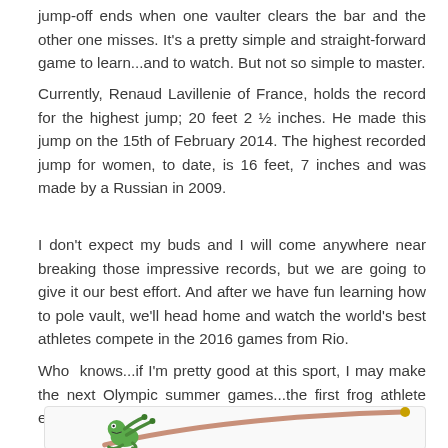jump-off ends when one vaulter clears the bar and the other one misses. It's a pretty simple and straight-forward game to learn...and to watch. But not so simple to master.
Currently, Renaud Lavillenie of France, holds the record for the highest jump; 20 feet 2 ½ inches. He made this jump on the 15th of February 2014. The highest recorded jump for women, to date, is 16 feet, 7 inches and was made by a Russian in 2009.
I don't expect my buds and I will come anywhere near breaking those impressive records, but we are going to give it our best effort. And after we have fun learning how to pole vault, we'll head home and watch the world's best athletes compete in the 2016 games from Rio.
Who knows...if I'm pretty good at this sport, I may make the next Olympic summer games...the first frog athlete ever to compete!
[Figure (illustration): Cartoon illustration of a frog pole vaulting, showing a frog character gripping a pole with a brownish/pink flexible pole bending under tension.]